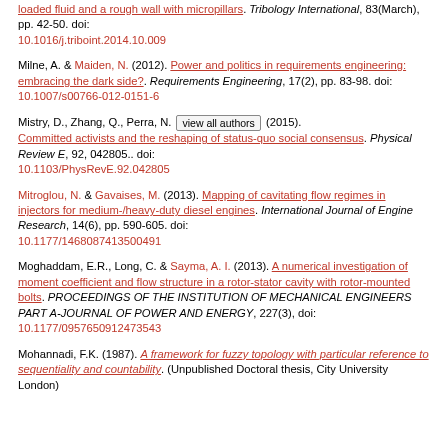loaded fluid and a rough wall with micropillars. Tribology International, 83(March), pp. 42-50. doi: 10.1016/j.triboint.2014.10.009
Milne, A. & Maiden, N. (2012). Power and politics in requirements engineering: embracing the dark side?. Requirements Engineering, 17(2), pp. 83-98. doi: 10.1007/s00766-012-0151-6
Mistry, D., Zhang, Q., Perra, N. [view all authors] (2015). Committed activists and the reshaping of status-quo social consensus. Physical Review E, 92, 042805.. doi: 10.1103/PhysRevE.92.042805
Mitroglou, N. & Gavaises, M. (2013). Mapping of cavitating flow regimes in injectors for medium-/heavy-duty diesel engines. International Journal of Engine Research, 14(6), pp. 590-605. doi: 10.1177/1468087413500491
Moghaddam, E.R., Long, C. & Sayma, A. I. (2013). A numerical investigation of moment coefficient and flow structure in a rotor-stator cavity with rotor-mounted bolts. PROCEEDINGS OF THE INSTITUTION OF MECHANICAL ENGINEERS PART A-JOURNAL OF POWER AND ENERGY, 227(3), doi: 10.1177/0957650912473543
Mohannadi, F.K. (1987). A framework for fuzzy topology with particular reference to sequentiality and countability. (Unpublished Doctoral thesis, City University London)